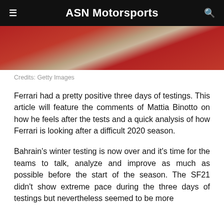ASN Motorsports
[Figure (photo): Close-up photo of a red Ferrari F1 car body panel with a beige/cream diagonal stripe]
Credits: Getty Images
Ferrari had a pretty positive three days of testings. This article will feature the comments of Mattia Binotto on how he feels after the tests and a quick analysis of how Ferrari is looking after a difficult 2020 season.
Bahrain's winter testing is now over and it's time for the teams to talk, analyze and improve as much as possible before the start of the season. The SF21 didn't show extreme pace during the three days of testings but nevertheless seemed to be more